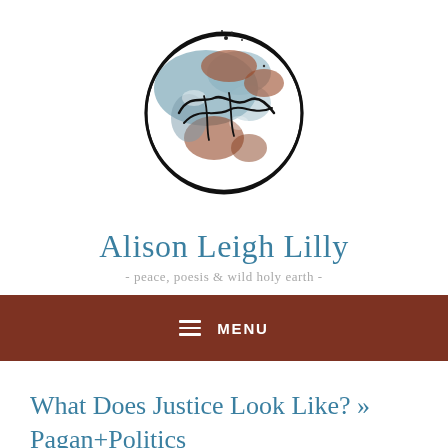[Figure (logo): Globe logo with watercolor earth map and cursive signature overlay]
Alison Leigh Lilly
- peace, poesis & wild holy earth -
≡ MENU
What Does Justice Look Like? » Pagan+Politics